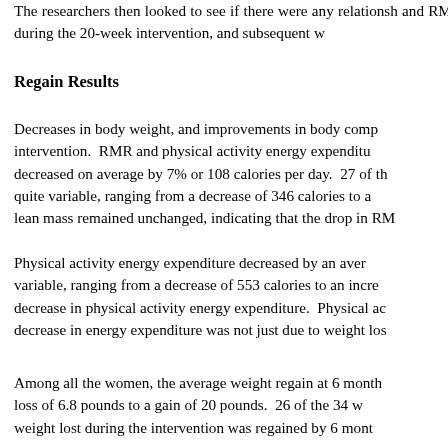The researchers then looked to see if there were any relationships between changes in body composition and RMR during the 20-week intervention, and subsequent weight regain.
Regain Results
Decreases in body weight, and improvements in body composition were seen at the end of the intervention. RMR and physical activity energy expenditure also changed. RMR decreased on average by 7% or 108 calories per day. 27 of the 34 women had a decrease. RMR was quite variable, ranging from a decrease of 346 calories to an increase of 161 calories. Fat free or lean mass remained unchanged, indicating that the drop in RMR was not due to muscle loss.
Physical activity energy expenditure decreased by an average of 134 calories per day and was also variable, ranging from a decrease of 553 calories to an increase of 469 calories. 20 of 34 had a decrease in physical activity energy expenditure. Physical activity levels were directly assessed so the decrease in energy expenditure was not just due to weight loss.
Among all the women, the average weight regain at 6 months after the intervention ranged from a loss of 6.8 pounds to a gain of 20 pounds. 26 of the 34 women regained weight. On average, weight lost during the intervention was regained by 6 mont